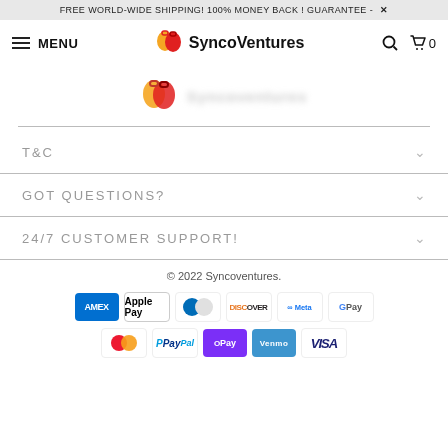FREE WORLD-WIDE SHIPPING! 100% MONEY BACK ! GUARANTEE - ×
[Figure (screenshot): SyncoVentures e-commerce navigation bar with hamburger menu, logo with shopping bags, search icon, and cart icon showing 0 items]
[Figure (logo): SyncoVentures logo centered with shopping bag icons and blurred text]
T&C
GOT QUESTIONS?
24/7 CUSTOMER SUPPORT!
© 2022 Syncoventures.
[Figure (infographic): Payment method icons: American Express, Apple Pay, Diners Club, Discover, Meta Pay, Google Pay, Mastercard, PayPal, OPay, Venmo, Visa]